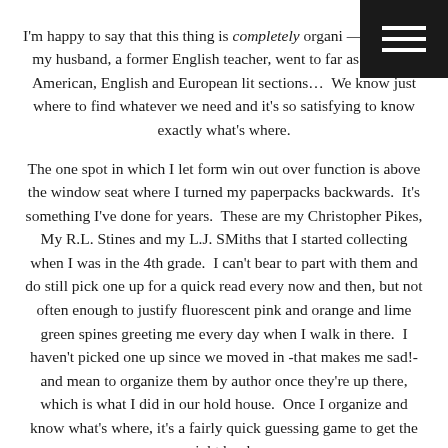[Figure (other): Hamburger menu icon — three horizontal white bars on a black square background, positioned in the top-right corner of the page.]
I'm happy to say that this thing is completely organized — seriously, my husband, a former English teacher, went to far as to create American, English and European lit sections…  We know just where to find whatever we need and it's so satisfying to know exactly what's where.

The one spot in which I let form win out over function is above the window seat where I turned my paperpacks backwards.  It's something I've done for years.  These are my Christopher Pikes, My R.L. Stines and my L.J. SMiths that I started collecting when I was in the 4th grade.  I can't bear to part with them and do still pick one up for a quick read every now and then, but not often enough to justify fluorescent pink and orange and lime green spines greeting me every day when I walk in there.  I haven't picked one up since we moved in -that makes me sad!- and mean to organize them by author once they're up there, which is what I did in our hold house.  Once I organize and know what's where, it's a fairly quick guessing game to get the right book.